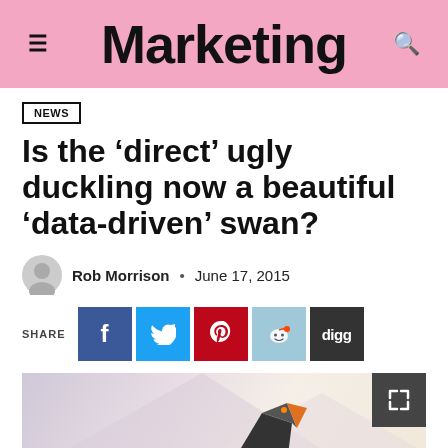Marketing
NEWS
Is the ‘direct’ ugly duckling now a beautiful ‘data-driven’ swan?
Rob Morrison • June 17, 2015
SHARE
[Figure (photo): Article hero image showing a stylized geometric duck figure]